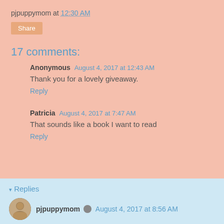pjpuppymom at 12:30 AM
Share
17 comments:
Anonymous August 4, 2017 at 12:43 AM
Thank you for a lovely giveaway.
Reply
Patricia August 4, 2017 at 7:47 AM
That sounds like a book I want to read
Reply
▾ Replies
pjpuppymom August 4, 2017 at 8:56 AM